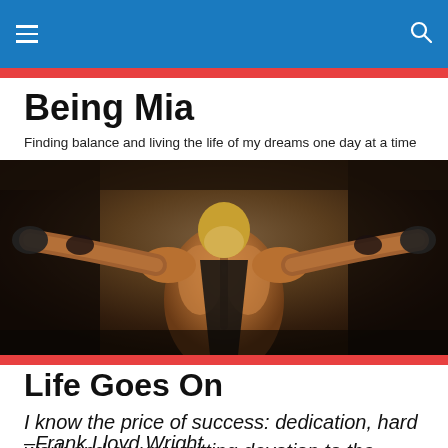Being Mia — navigation bar with menu and search icons
Being Mia
Finding balance and living the life of my dreams one day at a time
[Figure (photo): A muscular athlete seen from behind with arms raised wide, wearing a black sports top and dark gloves, against a muted wall background.]
Life Goes On
I know the price of success: dedication, hard work and an unremitting devotion to the things you want to see happen."
–Frank Lloyd Wright